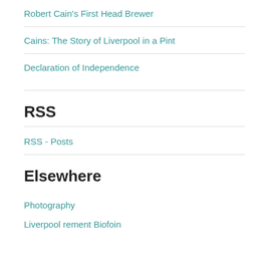Robert Cain's First Head Brewer
Cains: The Story of Liverpool in a Pint
Declaration of Independence
RSS
RSS - Posts
Elsewhere
Photography
Liverpoolrement Biofoin